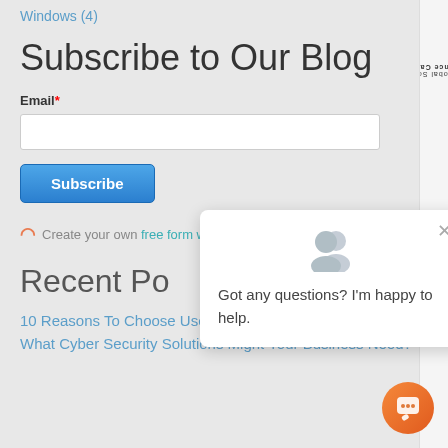Windows (4)
Subscribe to Our Blog
Email*
Subscribe
Create your own free form with Hub
Recent Po
10 Reasons To Choose User One For IT Support
What Cyber Security Solutions Might Your Business Need?
[Figure (screenshot): Chat popup overlay with avatar icons and message: Got any questions? I'm happy to help.]
[Figure (other): Orange circular chat button with speech bubble icon]